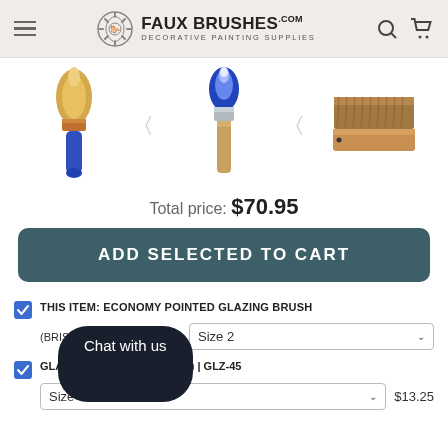FAUX BRUSHES.com DECORATIVE PAINTING SUPPLIES
[Figure (photo): Three decorative painting brushes displayed horizontally: a pointed glazing brush with golden bristles and blue handle on the left, a bluetop glazing brush with blue and white bristles in the center, and a wide flat brush with brown bristles and wooden handle on the right. Navigation arrows visible between brushes.]
Total price: $70.95
ADD SELECTED TO CART
THIS ITEM: ECONOMY POINTED GLAZING BRUSH (BRISTLE-NYLON) | GLZ-43  Size 2
GLAZING BRUSH (BLUETOP) | GLZ-45  Size 00000  $13.25